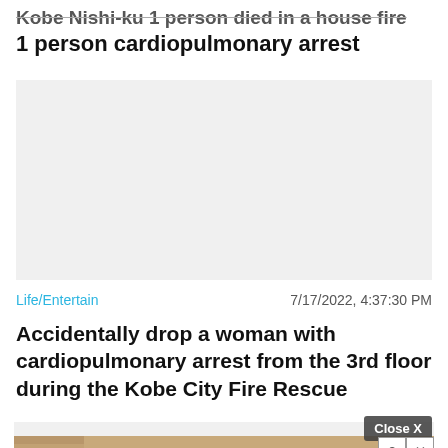Kobe Nishi-ku 1 person died in a house fire 1 person cardiopulmonary arrest
[Figure (other): Blank light gray advertisement placeholder box]
Life/Entertain   7/17/2022, 4:37:30 PM
Accidentally drop a woman with cardiopulmonary arrest from the 3rd floor during the Kobe City Fire Rescue
[Figure (screenshot): Advertisement for Hold and Move game showing animated figures and a Close X button overlay]
Hold and Move